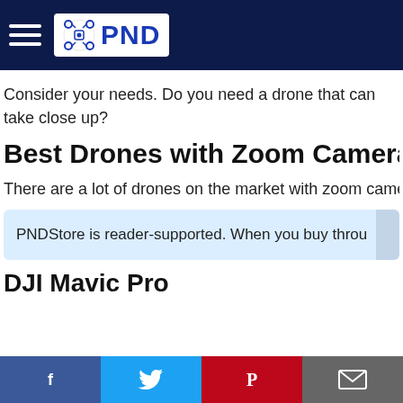PND
Consider your needs. Do you need a drone that can take close up?
Best Drones with Zoom Camera F
There are a lot of drones on the market with zoom came
PNDStore is reader-supported. When you buy throu
DJI Mavic Pro
Facebook | Twitter | Pinterest | Email